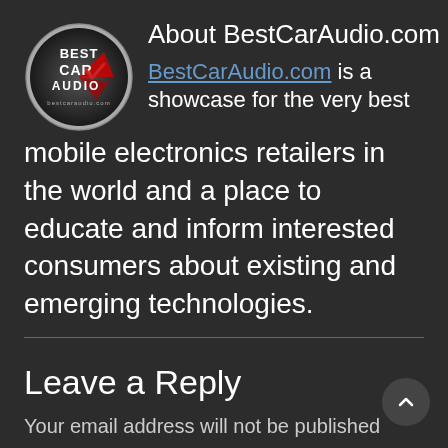[Figure (logo): BestCarAudio.com circular logo with red and silver styling, showing BEST CAR AUDIO text]
About BestCarAudio.com
BestCarAudio.com is a showcase for the very best mobile electronics retailers in the world and a place to educate and inform interested consumers about existing and emerging technologies.
Leave a Reply
Your email address will not be published